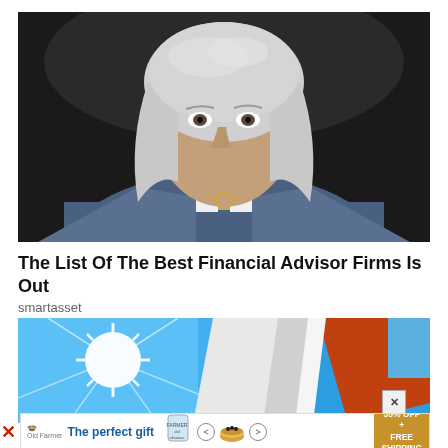[Figure (photo): Portrait of a mature woman with silver-white hair, wearing a blue denim shirt, hand raised to chin thoughtfully, dark background]
The List Of The Best Financial Advisor Firms Is Out
smartasset
[Figure (photo): Geometric architectural photo with bright sun burst in blue sky and orange/red geometric building panels]
[Figure (infographic): Advertisement banner: The perfect gift - 35% OFF + FREE SHIPPING, with food product images and navigation arrows]